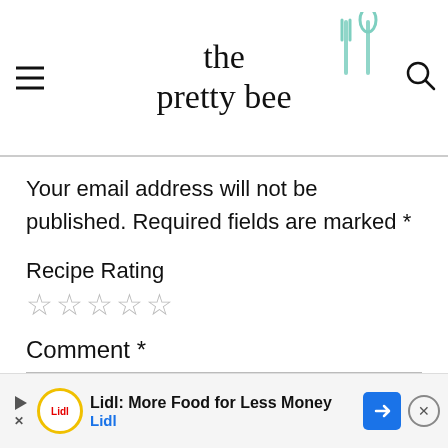the pretty bee
Your email address will not be published. Required fields are marked *
Recipe Rating
☆☆☆☆☆
Comment *
[Figure (screenshot): Empty comment text input box]
Lidl: More Food for Less Money
Lidl